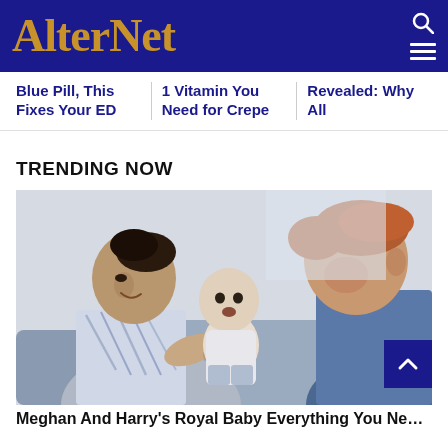AlterNet
Blue Pill, This Fixes Your ED
1 Vitamin You Need for Crepe
Revealed: Why All
TRENDING NOW
[Figure (photo): A woman (Meghan Markle) holding a baby (Archie), smiling, with a man (Prince Harry) facing them on the right side. They appear to be seated and interacting with the baby.]
Meghan And Harry's Royal Baby Everything You Need To...